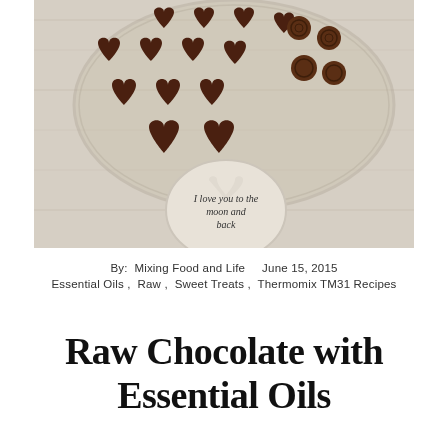[Figure (photo): Overhead photo of chocolate heart-shaped candies and swirl chocolates arranged on a round glass plate, with a white heart-shaped stone beneath that reads 'I love you to the moon and back', all on a pale wood surface.]
By:  Mixing Food and Life     June 15, 2015
Essential Oils ,  Raw ,  Sweet Treats ,  Thermomix TM31 Recipes
Raw Chocolate with Essential Oils